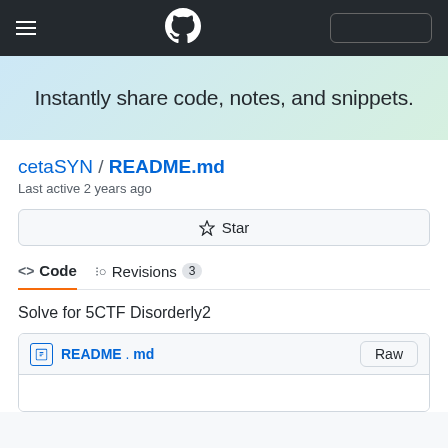GitHub Gist navigation bar with hamburger menu, GitHub logo, and search box
Instantly share code, notes, and snippets.
cetaSYN / README.md
Last active 2 years ago
☆ Star
<> Code   -o- Revisions  3
Solve for 5CTF Disorderly2
README.md   Raw